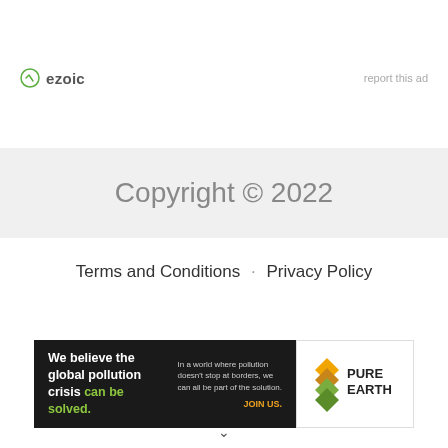[Figure (logo): Ezoic logo with green circular icon and 'ezoic' text, alongside 'report this ad' link]
Copyright © 2022
Terms and Conditions · Privacy Policy
[Figure (infographic): Pure Earth advertisement banner: black left panel with text 'We believe the global pollution crisis can be solved.' and right white panel with Pure Earth logo (diamond shape with layers icon) and 'PURE EARTH' text]